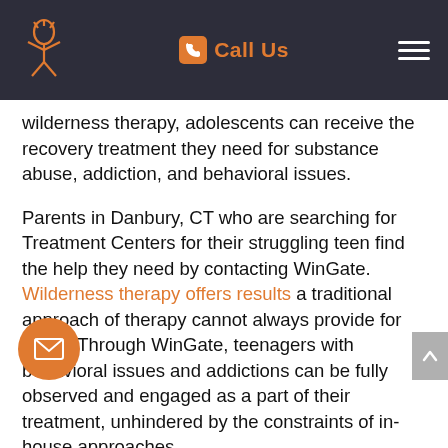Call Us
wilderness therapy, adolescents can receive the recovery treatment they need for substance abuse, addiction, and behavioral issues.
Parents in Danbury, CT who are searching for Treatment Centers for their struggling teen find the help they need by contacting WinGate. Wilderness therapy offers results a traditional approach of therapy cannot always provide for teens. Through WinGate, teenagers with behavioral issues and addictions can be fully observed and engaged as a part of their treatment, unhindered by the constraints of in-house approaches.
se our treatment on the philosophies of the Arbinger Institute. This approach is based on years of research that shows traditional approaches to